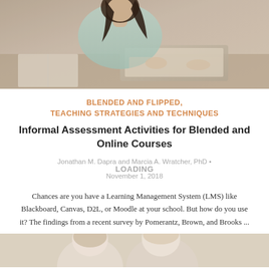[Figure (photo): Woman with dark hair wearing a light blue top, typing on a laptop at a desk, warm-toned background]
BLENDED AND FLIPPED,
TEACHING STRATEGIES AND TECHNIQUES
Informal Assessment Activities for Blended and Online Courses
Jonathan M. Dapra and Marcia A. Wratcher, PhD •
LOADING
November 1, 2018
Chances are you have a Learning Management System (LMS) like Blackboard, Canvas, D2L, or Moodle at your school. But how do you use it? The findings from a recent survey by Pomerantz, Brown, and Brooks ...
[Figure (photo): Partial view of two people, bottom of the page, cropped]